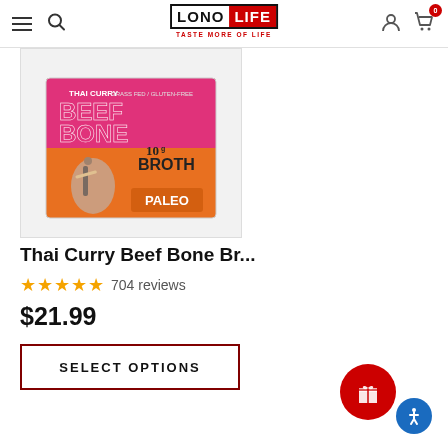LonoLife — TASTE MORE OF LIFE
[Figure (photo): Product box of Thai Curry Beef Bone Broth with 10g protein, Grass Fed, Gluten-Free, Paleo label. Orange and pink box with surfer imagery.]
Thai Curry Beef Bone Br...
★★★★★ 704 reviews
$21.99
SELECT OPTIONS